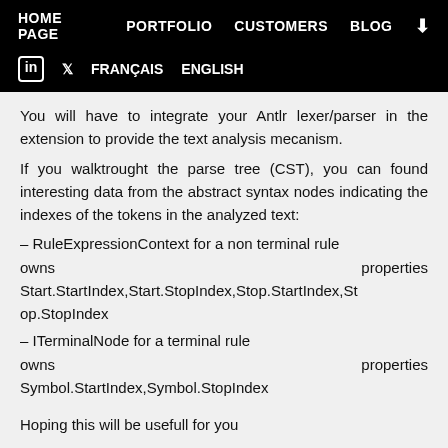HOME PAGE   PORTFOLIO   CUSTOMERS   BLOG
in  🐦  FRANÇAIS  ENGLISH
You will have to integrate your Antlr lexer/parser in the extension to provide the text analysis mecanism.
If you walktrought the parse tree (CST), you can found interesting data from the abstract syntax nodes indicating the indexes of the tokens in the analyzed text:
– RuleExpressionContext for a non terminal rule owns                                               properties Start.StartIndex,Start.StopIndex,Stop.StartIndex,Stop.StopIndex
– ITerminalNode for a terminal rule owns                                                          properties Symbol.StartIndex,Symbol.StopIndex
Hoping this will be usefull for you